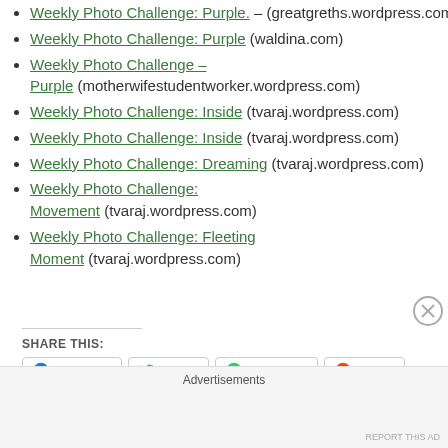Weekly Photo Challenge: Purple. – (greatgreths.wordpress.com)
Weekly Photo Challenge: Purple (waldina.com)
Weekly Photo Challenge – Purple  (motherwifestudentworker.wordpress.com)
Weekly Photo Challenge: Inside (tvaraj.wordpress.com)
Weekly Photo Challenge: Inside (tvaraj.wordpress.com)
Weekly Photo Challenge: Dreaming (tvaraj.wordpress.com)
Weekly Photo Challenge: Movement (tvaraj.wordpress.com)
Weekly Photo Challenge: Fleeting Moment (tvaraj.wordpress.com)
SHARE THIS:
Facebook  Twitter  WhatsApp  Reddit
Advertisements